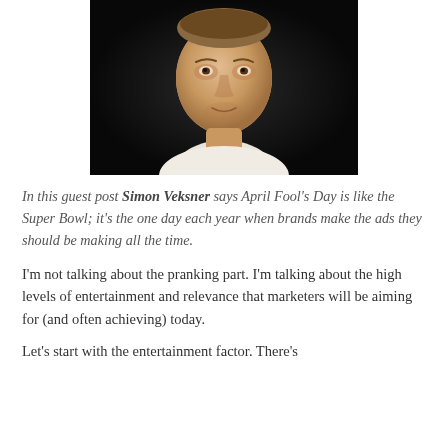[Figure (photo): Headshot of a middle-aged man with short brown hair wearing a white shirt, photographed against a dark/black background.]
In this guest post Simon Veksner says April Fool's Day is like the Super Bowl; it's the one day each year when brands make the ads they should be making all the time.
I'm not talking about the pranking part. I'm talking about the high levels of entertainment and relevance that marketers will be aiming for (and often achieving) today.
Let's start with the entertainment factor. There's a parallel with the Super Bowl; it's the...